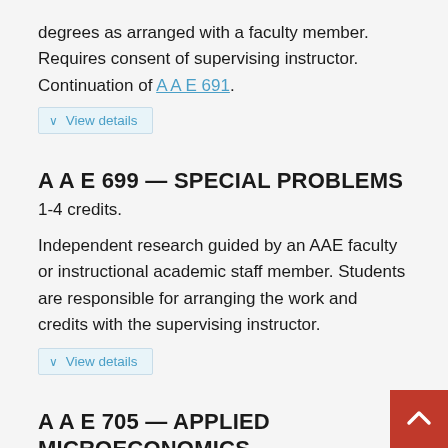degrees as arranged with a faculty member. Requires consent of supervising instructor. Continuation of A A E 691.
View details
A A E 699 — SPECIAL PROBLEMS
1-4 credits.
Independent research guided by an AAE faculty or instructional academic staff member. Students are responsible for arranging the work and credits with the supervising instructor.
View details
A A E 705 — APPLIED MICROECONOMICS
3 credits.